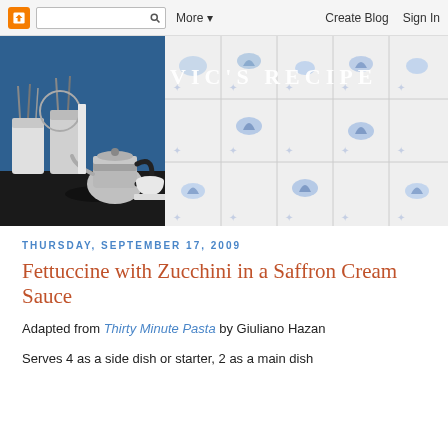Blogger navbar: logo, search, More, Create Blog, Sign In
[Figure (photo): Kitchen photo showing white containers with utensils, a silver kettle on a black stovetop, and a decorative blue-and-white tiled backsplash. Blog title 'VIC'S RECIPE' overlaid in white text.]
THURSDAY, SEPTEMBER 17, 2009
Fettuccine with Zucchini in a Saffron Cream Sauce
Adapted from Thirty Minute Pasta by Giuliano Hazan
Serves 4 as a side dish or starter, 2 as a main dish